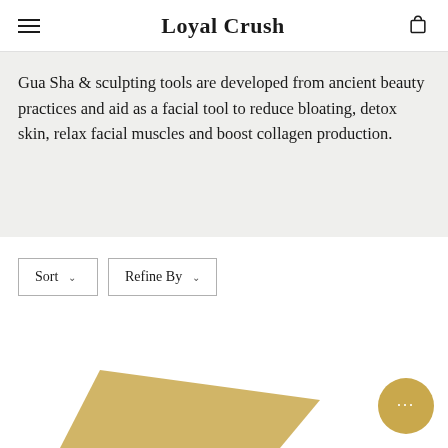Loyal Crush
Gua Sha & sculpting tools are developed from ancient beauty practices and aid as a facial tool to reduce bloating, detox skin, relax facial muscles and boost collagen production.
Sort    Refine By
[Figure (photo): Gold-colored product (partial) visible at bottom of page with chat support button in lower right corner]